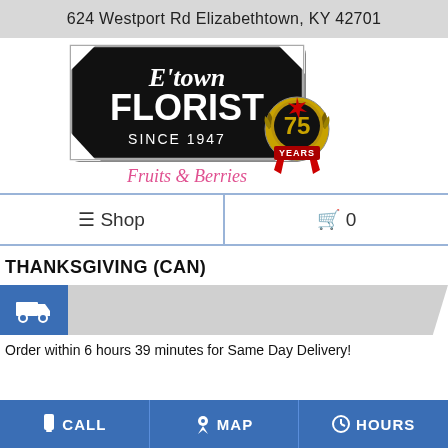624 Westport Rd Elizabethtown, KY 42701
[Figure (logo): E'town Florist Since 1947 logo with 75 Years badge and Fruits & Berries text]
≡ Shop   🛒 0
THANKSGIVING (CAN)
[Figure (infographic): Delivery truck icon in blue box, gray banner with delivery info]
Order within 6 hours 39 minutes for Same Day Delivery!
CALL   MAP   HOURS